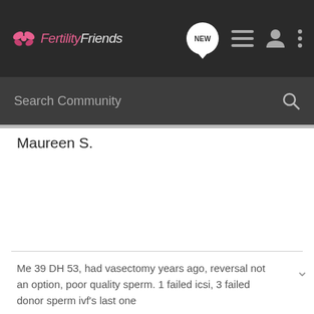FertilityFriends
Search Community
Maureen S.
Me 39 DH 53, had vasectomy years ago, reversal not an option, poor quality sperm. 1 failed icsi, 3 failed donor sperm ivf's last one
Joolz64 · Registered
Joined Jun 17, 2005 · 4 Posts
#4 · Jun 21, 2005